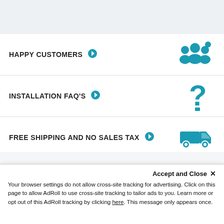HAPPY CUSTOMERS
INSTALLATION FAQ'S
FREE SHIPPING AND NO SALES TAX
SECURE SHOPPING
Accept and Close ✕
Your browser settings do not allow cross-site tracking for advertising. Click on this page to allow AdRoll to use cross-site tracking to tailor ads to you. Learn more or opt out of this AdRoll tracking by clicking here. This message only appears once.